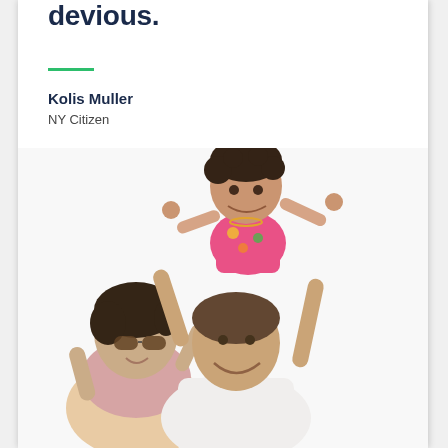devious.
Kolis Muller
NY Citizen
[Figure (photo): Happy family of three: a woman with sunglasses, a man in a white t-shirt, and a young girl with curly hair sitting on the man's shoulders, all smiling against a white background.]